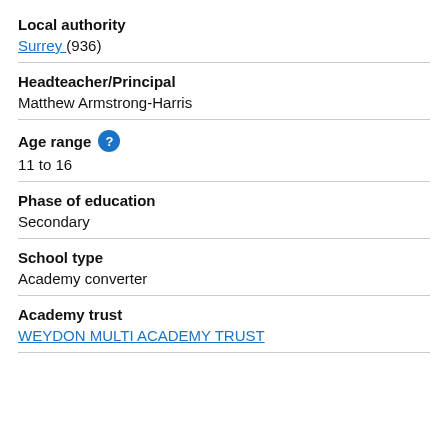Local authority
Surrey (936)
Headteacher/Principal
Matthew Armstrong-Harris
Age range
11 to 16
Phase of education
Secondary
School type
Academy converter
Academy trust
WEYDON MULTI ACADEMY TRUST